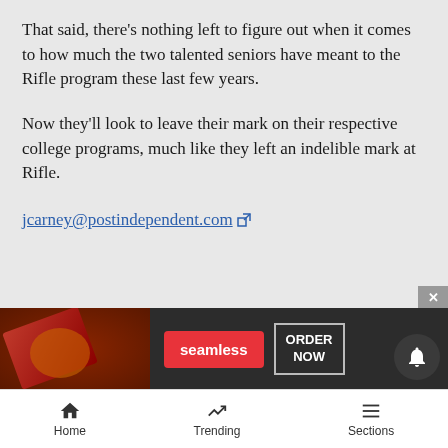That said, there's nothing left to figure out when it comes to how much the two talented seniors have meant to the Rifle program these last few years.
Now they'll look to leave their mark on their respective college programs, much like they left an indelible mark at Rifle.
jcarney@postindependent.com
Sports
[Figure (photo): Sports card with image of skier wearing Barilla cap against blue sky background]
[Figure (photo): Seamless food delivery advertisement banner with pizza image, seamless red button, and ORDER NOW button]
Home  Trending  Sections